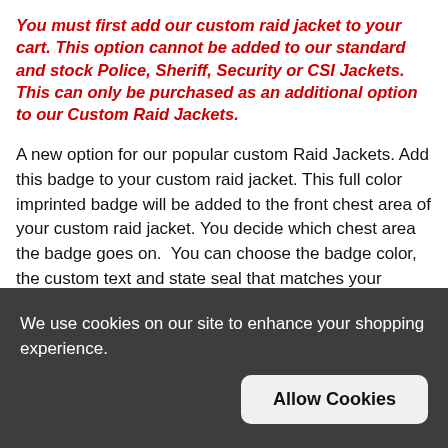You must first add our custom raid jacket to your cart. This option cannot be added to our standard and stock Police, Sheriff, Security or CSI Jackets. This can only be purchased as an additional option to our Custom Raid Jackets.
A new option for our popular custom Raid Jackets. Add this badge to your custom raid jacket. This full color imprinted badge will be added to the front chest area of your custom raid jacket. You decide which chest area the badge goes on.  You can choose the badge color, the custom text and state seal that matches your department. We only offer the official state seals for each state. The detail on this imprinted full color badge is awesome. Thanks to new high tech printing technology we can offer this high quality, full color imprint without charging the high setup charges. There
We use cookies on our site to enhance your shopping experience.
Allow Cookies